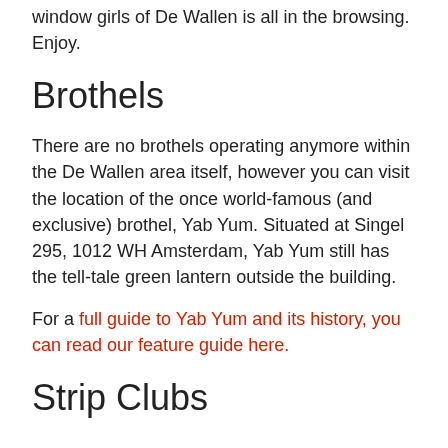window girls of De Wallen is all in the browsing. Enjoy.
Brothels
There are no brothels operating anymore within the De Wallen area itself, however you can visit the location of the once world-famous (and exclusive) brothel, Yab Yum. Situated at Singel 295, 1012 WH Amsterdam, Yab Yum still has the tell-tale green lantern outside the building.
For a full guide to Yab Yum and its history, you can read our feature guide here.
Strip Clubs